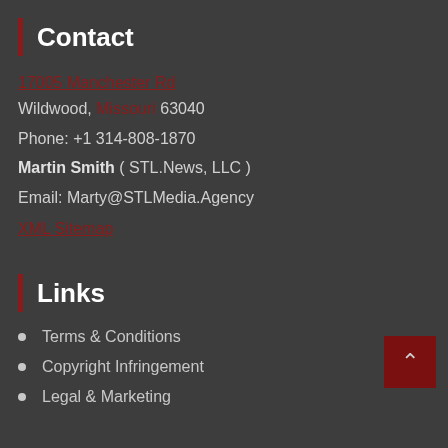Contact
17005 Manchester Rd
Wildwood, Missouri 63040
Phone: +1 314-808-1870
Martin Smith ( STL.News, LLC )
Email: Marty@STLMedia.Agency
XML Sitemap
Links
Terms & Conditions
Copyright Infringement
Legal & Marketing